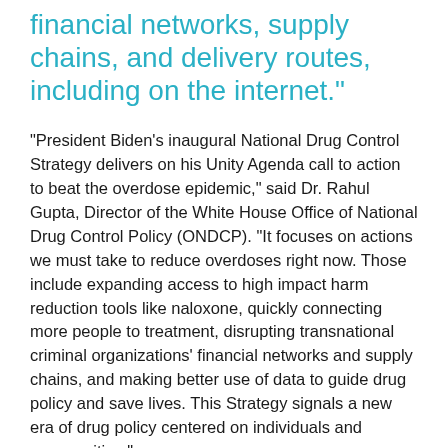financial networks, supply chains, and delivery routes, including on the internet.”
“President Biden’s inaugural National Drug Control Strategy delivers on his Unity Agenda call to action to beat the overdose epidemic,” said Dr. Rahul Gupta, Director of the White House Office of National Drug Control Policy (ONDCP). “It focuses on actions we must take to reduce overdoses right now. Those include expanding access to high impact harm reduction tools like naloxone, quickly connecting more people to treatment, disrupting transnational criminal organizations’ financial networks and supply chains, and making better use of data to guide drug policy and save lives. This Strategy signals a new era of drug policy centered on individuals and communities.”
“The overdose is a story that has been denied to all…